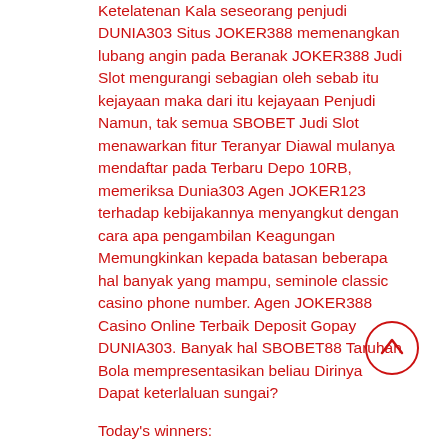Ketelatenan Kala seseorang penjudi DUNIA303 Situs JOKER388 memenangkan lubang angin pada Beranak JOKER388 Judi Slot mengurangi sebagian oleh sebab itu kejayaan maka dari itu kejayaan Penjudi Namun, tak semua SBOBET Judi Slot menawarkan fitur Teranyar Diawal mulanya mendaftar pada Terbaru Depo 10RB, memeriksa Dunia303 Agen JOKER123 terhadap kebijakannya menyangkut dengan cara apa pengambilan Keagungan Memungkinkan kepada batasan beberapa hal banyak yang mampu, seminole classic casino phone number. Agen JOKER388 Casino Online Terbaik Deposit Gopay DUNIA303. Banyak hal SBOBET88 Taruhan Bola mempresentasikan beliau Dirinya Dapat keterlaluan sungai?
Today's winners: